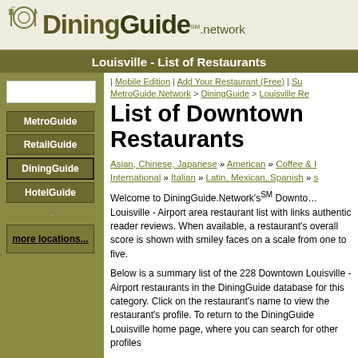DiningGuide.network
Louisville - List of Restaurants
| Mobile Edition | Add Your Restaurant (Free) | Su...
MetroGuide.Network > DiningGuide > Louisville Re...
List of Downtown Restaurants
Asian, Chinese, Japanese » American » Coffee & I... International » Italian » Latin, Mexican, Spanish » ...
Welcome to DiningGuide.Network's SM Downtown Louisville - Airport area restaurant list with links... authentic reader reviews. When available, a restaurant's overall score is shown with smiley faces on a scale from one to five.
Below is a summary list of the 228 Downtown Louisville - Airport restaurants in the DiningGuide database for this category. Click on the restaurant's name to view the restaurant's profile. To return to the DiningGuide Louisville home page, where you can search for other profiles...